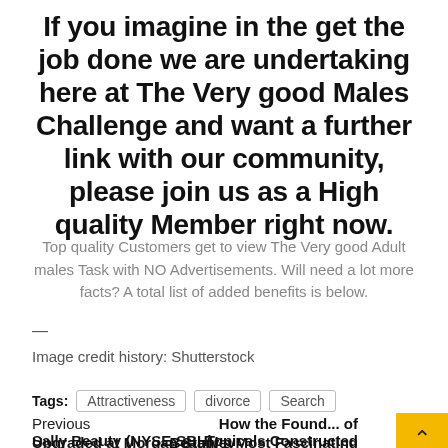If you imagine in the get the job done we are undertaking here at The Very good Males Challenge and want a further link with our community, please join us as a High quality Member right now.
Top quality Customers get to view The Very good Adult males Task with NO Advertisements. Will need a lot more facts? A total list of added benefits is below.
—
Image credit history: Shutterstock
Tags: Attractiveness  divorce  Search
Previous
Sally Beauty (NYSE:SBH) Upgraded at Morgan Stanley
How the Found... of Topicals Constructed Beauty's Most Fascinating